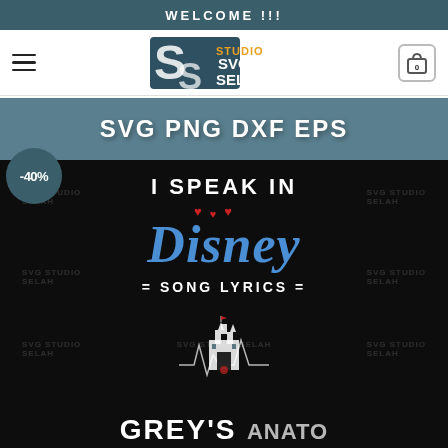WELCOME !!!
[Figure (logo): SVG Studio Selah logo with stylized S letters and colorful text]
[Figure (illustration): Product listing image: SVG PNG DXF EPS file formats banner at top in teal, below on black background reads 'I SPEAK IN Disney SONG LYRICS = =' with red hearts, Disney castle silhouette and heartbeat line, and partial text 'GREY'S ANATOMY' at bottom. Has -40% discount badge overlay. Multiple watermarks of SVGStudioSelah.]
-40%